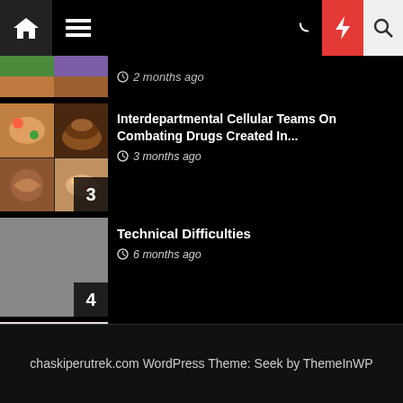[Figure (screenshot): Website navigation bar with home icon, hamburger menu, dark mode, lightning bolt (red), and search icons]
2 months ago
Interdepartmental Cellular Teams On Combating Drugs Created In...
3 months ago
Technical Difficulties
6 months ago
THE TEN GREATEST Wholesome Restaurants In Gilbert
12 months ago
chaskiperutrek.com WordPress Theme: Seek by ThemeInWP